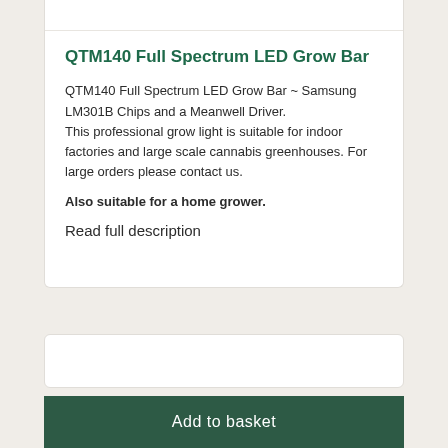QTM140 Full Spectrum LED Grow Bar
QTM140 Full Spectrum LED Grow Bar ~ Samsung LM301B Chips and a Meanwell Driver.
This professional grow light is suitable for indoor factories and large scale cannabis greenhouses. For large orders please contact us.
Also suitable for a home grower.
Read full description